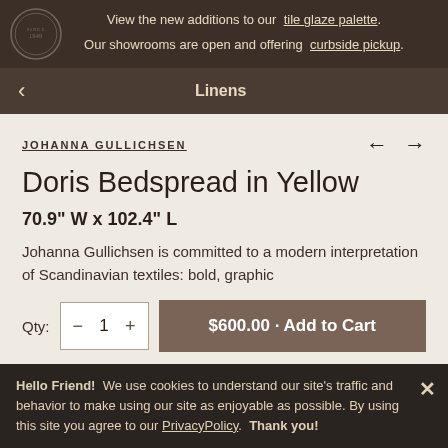View the new additions to our tile glaze palette. Our showrooms are open and offering curbside pickup.
Linens
JOHANNA GULLICHSEN
Doris Bedspread in Yellow
70.9" W x 102.4" L
Johanna Gullichsen is committed to a modern interpretation of Scandinavian textiles: bold, graphic
Qty: - 1 + $600.00 - Add to Cart
View More
Hello Friend! We use cookies to understand our site's traffic and behavior to make using our site as enjoyable as possible. By using this site you agree to our PrivacyPolicy. Thank you!